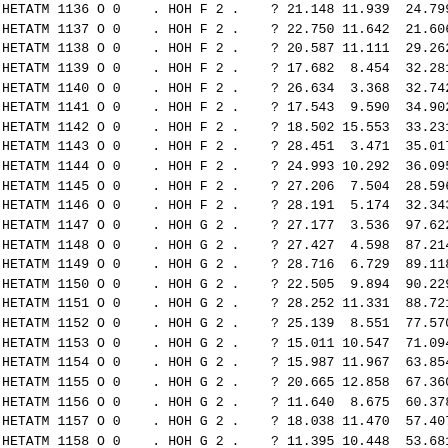| HETATM | 1136 | O | 0 | . | HOH | F | 2 | . | ? | 21.148 | 11.939 | 24.799 |
| HETATM | 1137 | O | 0 | . | HOH | F | 2 | . | ? | 22.750 | 11.642 | 21.606 |
| HETATM | 1138 | O | 0 | . | HOH | F | 2 | . | ? | 20.587 | 11.111 | 29.262 |
| HETATM | 1139 | O | 0 | . | HOH | F | 2 | . | ? | 17.682 | 8.454 | 32.281 |
| HETATM | 1140 | O | 0 | . | HOH | F | 2 | . | ? | 26.634 | 3.368 | 32.742 |
| HETATM | 1141 | O | 0 | . | HOH | F | 2 | . | ? | 17.543 | 9.590 | 34.902 |
| HETATM | 1142 | O | 0 | . | HOH | F | 2 | . | ? | 18.502 | 15.553 | 33.231 |
| HETATM | 1143 | O | 0 | . | HOH | F | 2 | . | ? | 28.451 | 3.471 | 35.017 |
| HETATM | 1144 | O | 0 | . | HOH | F | 2 | . | ? | 24.993 | 10.292 | 36.095 |
| HETATM | 1145 | O | 0 | . | HOH | F | 2 | . | ? | 27.206 | 7.504 | 28.596 |
| HETATM | 1146 | O | 0 | . | HOH | F | 2 | . | ? | 28.191 | 5.174 | 32.343 |
| HETATM | 1147 | O | 0 | . | HOH | G | 2 | . | ? | 27.177 | 3.536 | 97.622 |
| HETATM | 1148 | O | 0 | . | HOH | G | 2 | . | ? | 27.427 | 4.598 | 87.214 |
| HETATM | 1149 | O | 0 | . | HOH | G | 2 | . | ? | 28.716 | 6.729 | 89.118 |
| HETATM | 1150 | O | 0 | . | HOH | G | 2 | . | ? | 22.505 | 9.894 | 90.229 |
| HETATM | 1151 | O | 0 | . | HOH | G | 2 | . | ? | 28.252 | 11.331 | 88.721 |
| HETATM | 1152 | O | 0 | . | HOH | G | 2 | . | ? | 25.139 | 8.551 | 77.570 |
| HETATM | 1153 | O | 0 | . | HOH | G | 2 | . | ? | 15.011 | 10.547 | 71.094 |
| HETATM | 1154 | O | 0 | . | HOH | G | 2 | . | ? | 15.987 | 11.967 | 63.854 |
| HETATM | 1155 | O | 0 | . | HOH | G | 2 | . | ? | 20.665 | 12.858 | 67.360 |
| HETATM | 1156 | O | 0 | . | HOH | G | 2 | . | ? | 11.640 | 8.675 | 60.378 |
| HETATM | 1157 | O | 0 | . | HOH | G | 2 | . | ? | 18.038 | 11.470 | 57.407 |
| HETATM | 1158 | O | 0 | . | HOH | G | 2 | . | ? | 11.395 | 10.448 | 53.681 |
| HETATM | 1159 | O | 0 | . | HOH | G | 2 | . | ? | 16.432 | 15.239 | 52.872 |
| HETATM | 1160 | O | 0 | . | HOH | G | 2 | . | ? | 20.056 | 12.069 | 52.096 |
| HETATM | 1161 | O | 0 | . | HOH | G | 2 | . | ? | 15.141 | 0.451 | 46.458 |
| HETATM | 1162 | O | 0 | . | HOH | G | 2 | . | ? | 10.752 | 6.071 | 44.549 |
| HETATM | 1163 | O | 0 | . | HOH | H | 2 | . | ? | 11.115 | -6.266 | 51.570 |
| HETATM | 1164 | O | 0 | . | HOH | H | 2 | . | ? | 7.857 | -0.733 | 88.808 |
| HETATM | 1165 | O | 0 | . | HOH | H | 2 | . | ? | 10.097 | 8.101 | 62.527 |